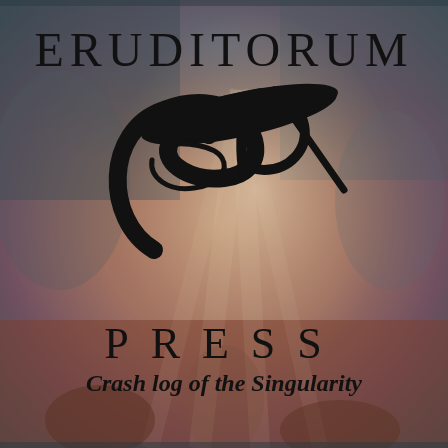[Figure (logo): Eruditorum Press logo page with stylized 'ep' monogram in black on a muted warm background featuring a classical painting (figures with wings/ethereal scene). Text reads ERUDITORUM at top, PRESS below the logo, and 'Crash log of the Singularity' at the bottom in bold italic.]
ERUDITORUM
PRESS
Crash log of the Singularity